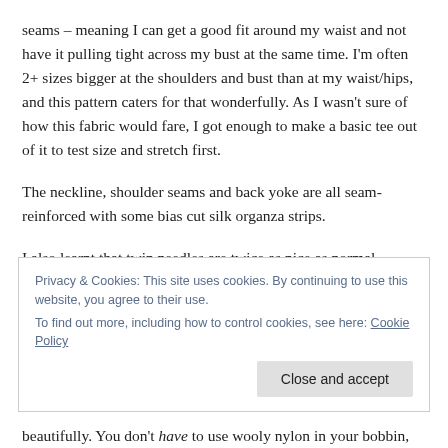seams – meaning I can get a good fit around my waist and not have it pulling tight across my bust at the same time. I'm often 2+ sizes bigger at the shoulders and bust than at my waist/hips, and this pattern caters for that wonderfully. As I wasn't sure of how this fabric would fare, I got enough to make a basic tee out of it to test size and stretch first.
The neckline, shoulder seams and back yoke are all seam-reinforced with some bias cut silk organza strips.
I also learnt that twin needles are twice as nice as normal
Privacy & Cookies: This site uses cookies. By continuing to use this website, you agree to their use.
To find out more, including how to control cookies, see here: Cookie Policy
beautifully. You don't have to use wooly nylon in your bobbin,